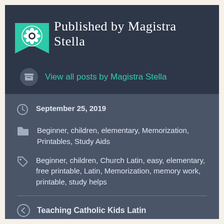Published by Magistra Stella
View all posts by Magistra Stella
September 25, 2019
Beginner, children, elementary, Memorization, Printables, Study Aids
Beginner, children, Church Latin, easy, elementary, free printable, Latin, Memorization, memory work, printable, study helps
Teaching Catholic Kids Latin
Latin Conversational Phrases